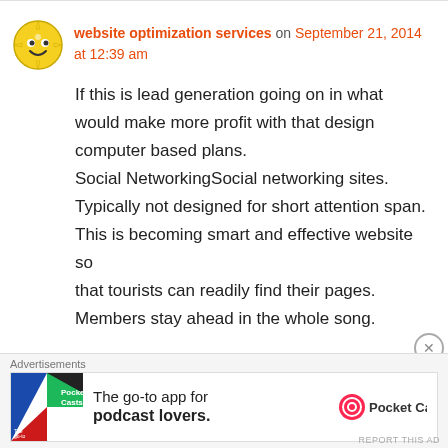website optimization services on September 21, 2014 at 12:39 am
If this is lead generation going on in what would make more profit with that design computer based plans. Social NetworkingSocial networking sites. Typically not designed for short attention span. This is becoming smart and effective website so that tourists can readily find their pages. Members stay ahead in the whole song.
[Figure (infographic): Advertisement banner for Pocket Casts app featuring colorful podcast app icon, text 'The go-to app for podcast lovers.' and Pocket Casts logo]
Advertisements